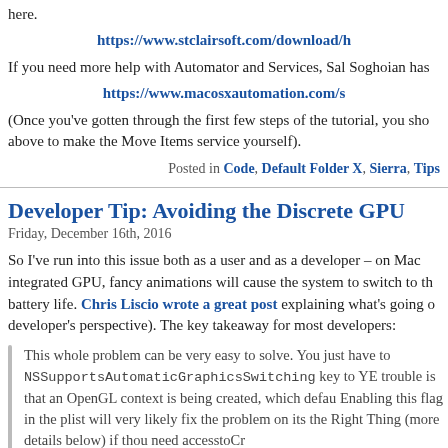here.
https://www.stclairsoft.com/download/h
If you need more help with Automator and Services, Sal Soghoian has
https://www.macosxautomation.com/s
(Once you've gotten through the first few steps of the tutorial, you sho above to make the Move Items service yourself).
Posted in Code, Default Folder X, Sierra, Tips
Developer Tip: Avoiding the Discrete GPU
Friday, December 16th, 2016
So I've run into this issue both as a user and as a developer – on Mac integrated GPU, fancy animations will cause the system to switch to th battery life. Chris Liscio wrote a great post explaining what's going o developer's perspective). The key takeaway for most developers:
This whole problem can be very easy to solve. You just have to NSSupportsAutomaticGraphicsSwitching key to YE trouble is that an OpenGL context is being created, which defau Enabling this flag in the plist will very likely fix the problem on its the Right Thing (more details below) if thou need accesstoCr